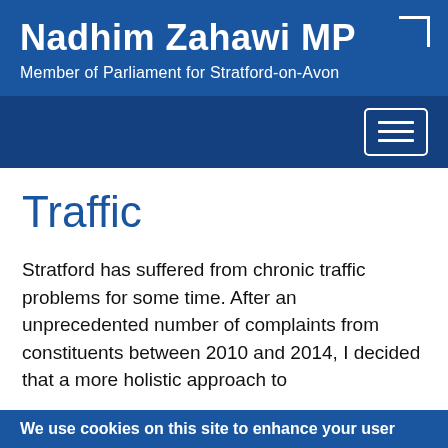Nadhim Zahawi MP
Member of Parliament for Stratford-on-Avon
Traffic
Stratford has suffered from chronic traffic problems for some time. After an unprecedented number of complaints from constituents between 2010 and 2014, I decided that a more holistic approach to
We use cookies on this site to enhance your user